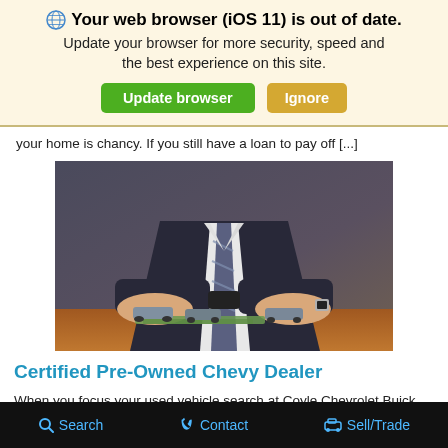🌐 Your web browser (iOS 11) is out of date. Update your browser for more security, speed and the best experience on this site. [Update browser] [Ignore]
your home is chancy. If you still have a loan to pay off [...]
[Figure (photo): A businessman in a dark suit and striped tie sitting at a wooden table, holding a small toy car with both hands. Other toy cars and money are visible on the table.]
Certified Pre-Owned Chevy Dealer
When you focus your used vehicle search at Coyle Chevrolet Buick GMC, you're choosing the Certified Pre-Owned Chevy dealer with
Search   Contact   Sell/Trade